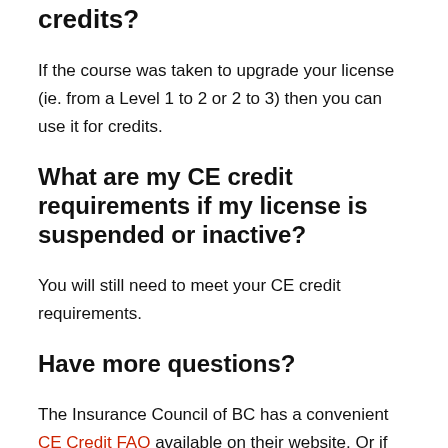Do licensing courses count for CE credits?
If the course was taken to upgrade your license (ie. from a Level 1 to 2 or 2 to 3) then you can use it for credits.
What are my CE credit requirements if my license is suspended or inactive?
You will still need to meet your CE credit requirements.
Have more questions?
The Insurance Council of BC has a convenient CE Credit FAQ available on their website. Or if you